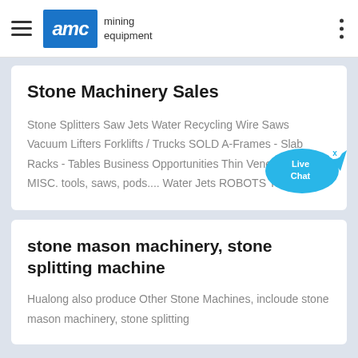AMC mining equipment
Stone Machinery Sales
Stone Splitters Saw Jets Water Recycling Wire Saws Vacuum Lifters Forklifts / Trucks SOLD A-Frames - Slab Racks - Tables Business Opportunities Thin Veneer Saws MISC. tools, saws, pods.... Water Jets ROBOTS Tile Lines
stone mason machinery, stone splitting machine
Hualong also produce Other Stone Machines, incloude stone mason machinery, stone splitting